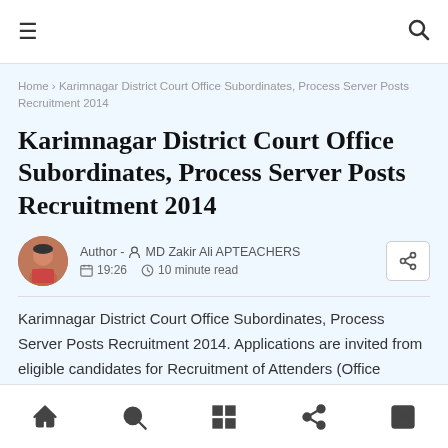≡  🔍
Home > Karimnagar District Court Office Subordinates, Process Server Posts Recruitment 2014
Karimnagar District Court Office Subordinates, Process Server Posts Recruitment 2014
Author - 👤 MD Zakir Ali APTEACHERS
19:26  🕐 10 minute read
Karimnagar District Court Office Subordinates, Process Server Posts Recruitment 2014. Applications are invited from eligible candidates for Recruitment of Attenders (Office
🏠  🔍  ⊞  ⬡  ⬜